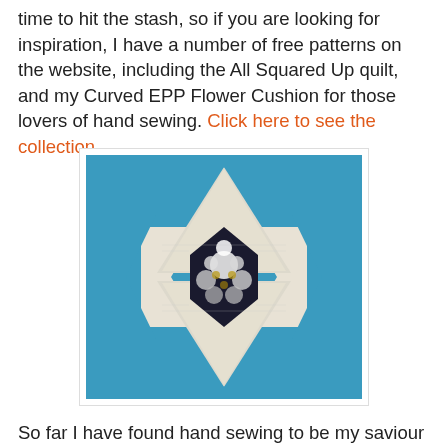time to hit the stash, so if you are looking for inspiration, I have a number of free patterns on the website, including the All Squared Up quilt, and my Curved EPP Flower Cushion for those lovers of hand sewing. Click here to see the collection.
[Figure (photo): A star-pattern quilt in blue and white fabrics with a dark floral center star, photographed from above.]
So far I have found hand sewing to be my saviour